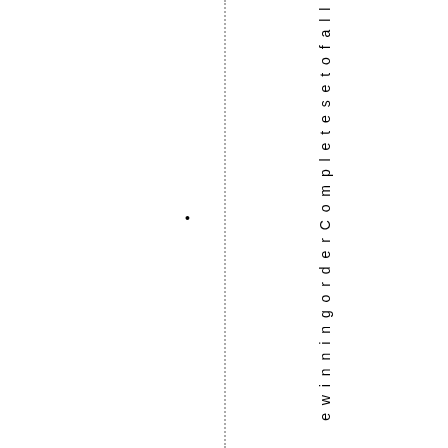winning order Complete set of all